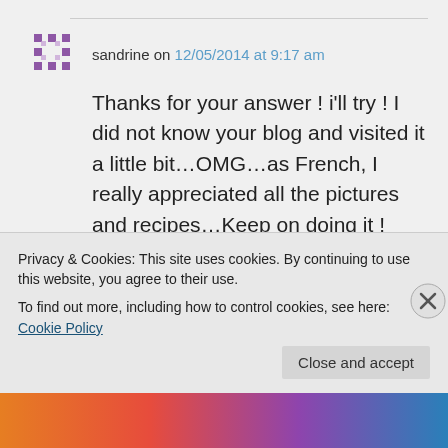sandrine on 12/05/2014 at 9:17 am
Thanks for your answer ! i'll try ! I did not know your blog and visited it a little bit…OMG…as French, I really appreciated all the pictures and recipes…Keep on doing it !
★ Liked by 1 person
Privacy & Cookies: This site uses cookies. By continuing to use this website, you agree to their use.
To find out more, including how to control cookies, see here: Cookie Policy
Close and accept